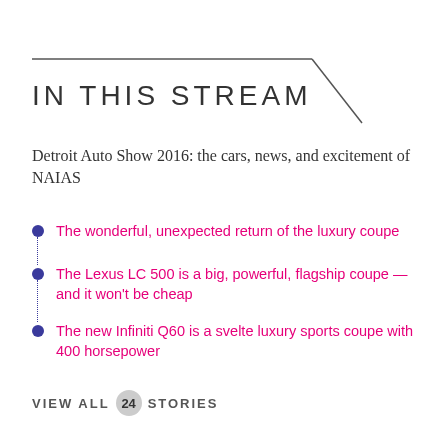IN THIS STREAM
Detroit Auto Show 2016: the cars, news, and excitement of NAIAS
The wonderful, unexpected return of the luxury coupe
The Lexus LC 500 is a big, powerful, flagship coupe — and it won't be cheap
The new Infiniti Q60 is a svelte luxury sports coupe with 400 horsepower
VIEW ALL 24 STORIES